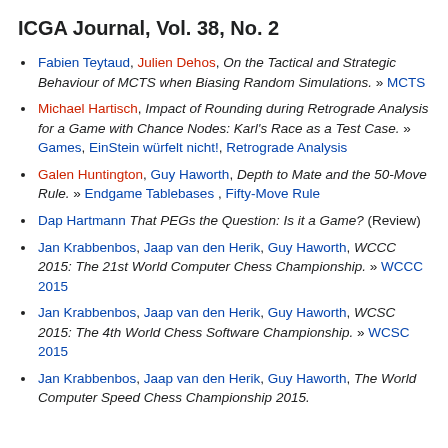ICGA Journal, Vol. 38, No. 2
Fabien Teytaud, Julien Dehos, On the Tactical and Strategic Behaviour of MCTS when Biasing Random Simulations. » MCTS
Michael Hartisch, Impact of Rounding during Retrograde Analysis for a Game with Chance Nodes: Karl's Race as a Test Case. » Games, EinStein würfelt nicht!, Retrograde Analysis
Galen Huntington, Guy Haworth, Depth to Mate and the 50-Move Rule. » Endgame Tablebases , Fifty-Move Rule
Dap Hartmann That PEGs the Question: Is it a Game? (Review)
Jan Krabbenbos, Jaap van den Herik, Guy Haworth, WCCC 2015: The 21st World Computer Chess Championship. » WCCC 2015
Jan Krabbenbos, Jaap van den Herik, Guy Haworth, WCSC 2015: The 4th World Chess Software Championship. » WCSC 2015
Jan Krabbenbos, Jaap van den Herik, Guy Haworth, The World Computer Speed Chess Championship 2015.